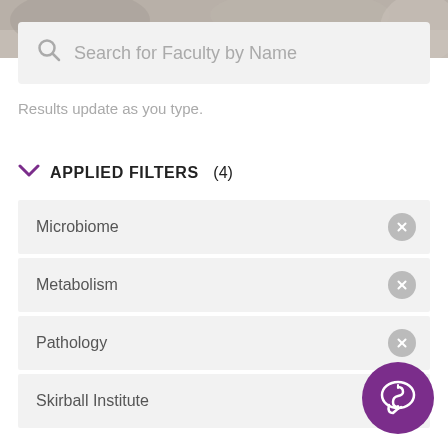[Figure (screenshot): Top photographic strip showing a blurred outdoor background]
Search for Faculty by Name
Results update as you type.
APPLIED FILTERS (4)
Microbiome
Metabolism
Pathology
Skirball Institute